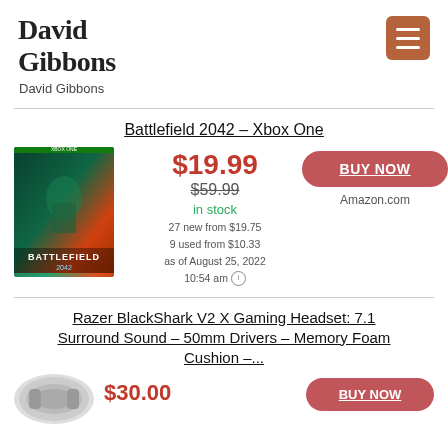David Gibbons
David Gibbons
Battlefield 2042 – Xbox One
$19.99
$59.99
in stock
27 new from $19.75
9 used from $10.33
as of August 25, 2022
10:54 am
[Figure (photo): Battlefield 2042 Xbox One game cover showing soldier with teal/green digital art background]
BUY NOW
Amazon.com
Razer BlackShark V2 X Gaming Headset: 7.1 Surround Sound – 50mm Drivers – Memory Foam Cushion –...
[Figure (photo): Razer BlackShark V2 X Gaming Headset circular thumbnail]
$30.00